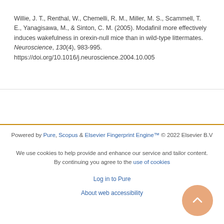Willie, J. T., Renthal, W., Chemelli, R. M., Miller, M. S., Scammell, T. E., Yanagisawa, M., & Sinton, C. M. (2005). Modafinil more effectively induces wakefulness in orexin-null mice than in wild-type littermates. Neuroscience, 130(4), 983-995. https://doi.org/10.1016/j.neuroscience.2004.10.005
Powered by Pure, Scopus & Elsevier Fingerprint Engine™ © 2022 Elsevier B.V
We use cookies to help provide and enhance our service and tailor content. By continuing you agree to the use of cookies
Log in to Pure
About web accessibility